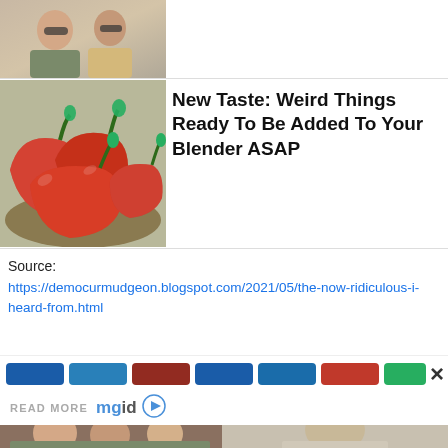[Figure (photo): Partial top image showing two people, cropped at top]
New Taste: Weird Things Ready To Be Added To Your Blender ASAP
[Figure (photo): Red peppers on a wooden surface/bowl]
Source:
https://democurmudgeon.blogspot.com/2021/05/the-now-ridiculous-i-heard-from.html
[Figure (screenshot): Ad bar with colored blocks and close button, READ MORE mgid branding, and bottom images of people]
READ MORE mgid